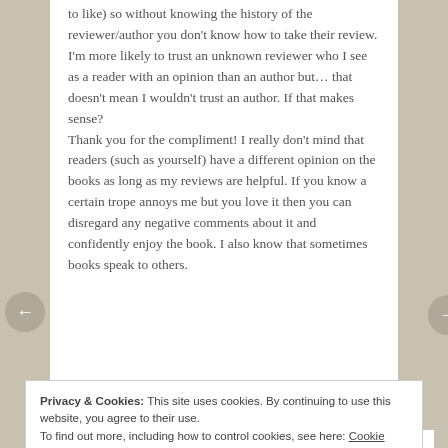to like) so without knowing the history of the reviewer/author you don't know how to take their review. I'm more likely to trust an unknown reviewer who I see as a reader with an opinion than an author but… that doesn't mean I wouldn't trust an author. If that makes sense?
Thank you for the compliment! I really don't mind that readers (such as yourself) have a different opinion on the books as long as my reviews are helpful. If you know a certain trope annoys me but you love it then you can disregard any negative comments about it and confidently enjoy the book. I also know that sometimes books speak to others.
Privacy & Cookies: This site uses cookies. By continuing to use this website, you agree to their use.
To find out more, including how to control cookies, see here: Cookie Policy
Close and accept
REPLY